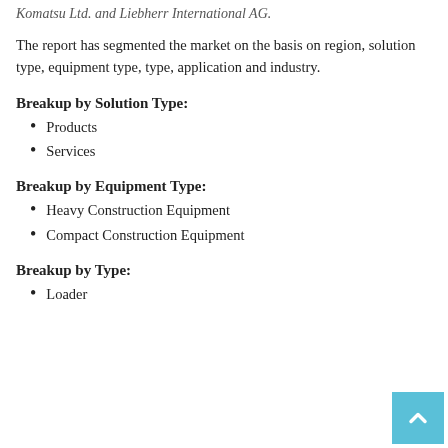Komatsu Ltd. and Liebherr International AG.
The report has segmented the market on the basis on region, solution type, equipment type, type, application and industry.
Breakup by Solution Type:
Products
Services
Breakup by Equipment Type:
Heavy Construction Equipment
Compact Construction Equipment
Breakup by Type:
Loader